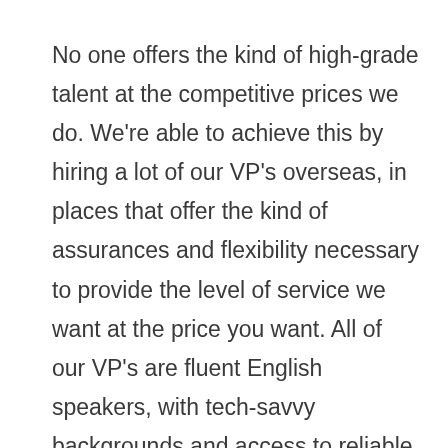No one offers the kind of high-grade talent at the competitive prices we do. We're able to achieve this by hiring a lot of our VP's overseas, in places that offer the kind of assurances and flexibility necessary to provide the level of service we want at the price you want. All of our VP's are fluent English speakers, with tech-savvy backgrounds and access to reliable internet. Not to mention by having our workforce spread across multiple countries we're able to provide service around the clock, 7 days a week. And rest assured, we treat all of our VP's, local or foreign, with the same professional respect and care to keep them happy and supported. Because a happy worker is